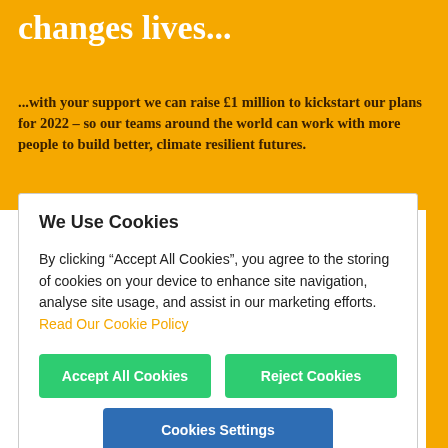changes lives...
...with your support we can raise £1 million to kickstart our plans for 2022 – so our teams around the world can work with more people to build better, climate resilient futures.
We Use Cookies
By clicking “Accept All Cookies”, you agree to the storing of cookies on your device to enhance site navigation, analyse site usage, and assist in our marketing efforts. Read Our Cookie Policy
Accept All Cookies
Reject Cookies
Cookies Settings